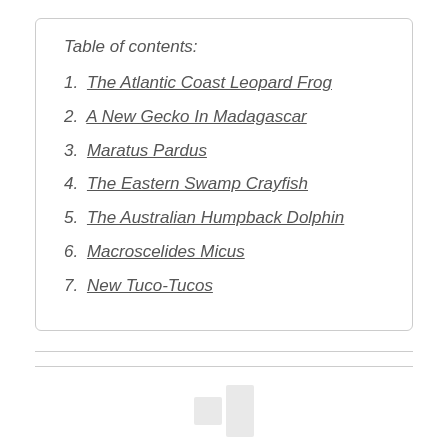Table of contents:
1. The Atlantic Coast Leopard Frog
2. A New Gecko In Madagascar
3. Maratus Pardus
4. The Eastern Swamp Crayfish
5. The Australian Humpback Dolphin
6. Macroscelides Micus
7. New Tuco-Tucos
[Figure (logo): A gray logo mark partially visible at the bottom center of the page]